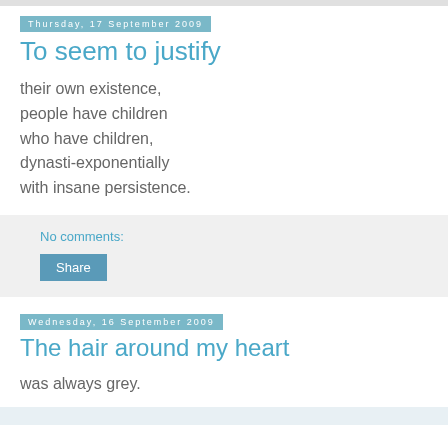Thursday, 17 September 2009
To seem to justify
their own existence,
people have children
who have children,
dynasti-exponentially
with insane persistence.
No comments:
Share
Wednesday, 16 September 2009
The hair around my heart
was always grey.